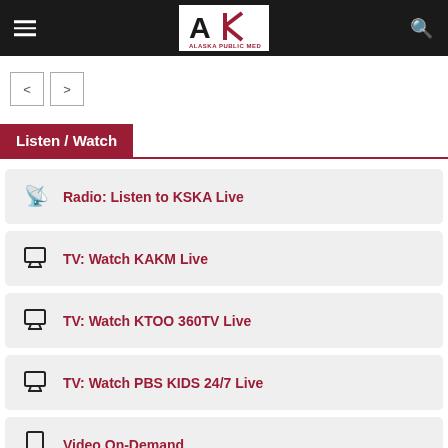Alaska Public Media
Listen / Watch
Radio: Listen to KSKA Live
TV: Watch KAKM Live
TV: Watch KTOO 360TV Live
TV: Watch PBS KIDS 24/7 Live
Video On-Demand